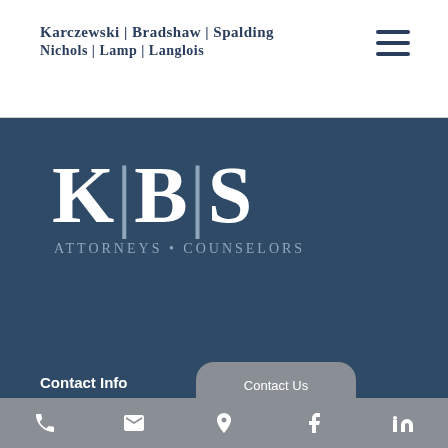Karczewski | Bradshaw | Spalding Nichols | Lamp | Langlois
[Figure (logo): KBS Attorneys Counselors logo — large white serif letters K|B|S with 'Attorneys • Counselors' tagline below, on dark blue background]
Contact Info
Contact Us
Phone, Email, Location, Facebook, LinkedIn icons